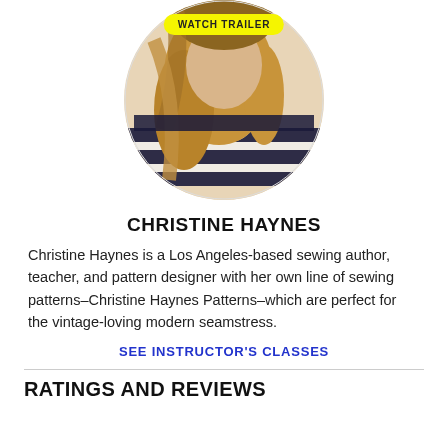[Figure (photo): Circular cropped photo of Christine Haynes, a woman with long blonde hair wearing a navy and white striped shirt, with a yellow 'WATCH TRAILER' button overlaid at the top]
CHRISTINE HAYNES
Christine Haynes is a Los Angeles-based sewing author, teacher, and pattern designer with her own line of sewing patterns–Christine Haynes Patterns–which are perfect for the vintage-loving modern seamstress.
SEE INSTRUCTOR'S CLASSES
RATINGS AND REVIEWS